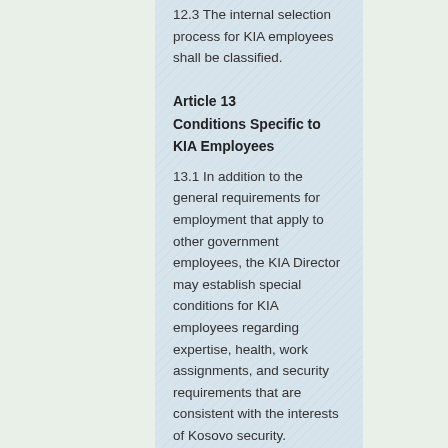12.3 The internal selection process for KIA employees shall be classified.
Article 13
Conditions Specific to KIA Employees
13.1 In addition to the general requirements for employment that apply to other government employees, the KIA Director may establish special conditions for KIA employees regarding expertise, health, work assignments, and security requirements that are consistent with the interests of Kosovo security.
13.2 The Rules on Internal Organization, drafted by the